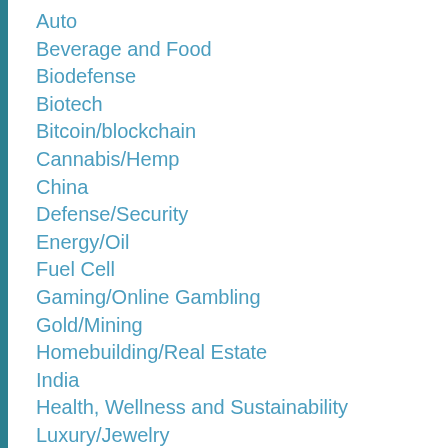Auto
Beverage and Food
Biodefense
Biotech
Bitcoin/blockchain
Cannabis/Hemp
China
Defense/Security
Energy/Oil
Fuel Cell
Gaming/Online Gambling
Gold/Mining
Homebuilding/Real Estate
India
Health, Wellness and Sustainability
Luxury/Jewelry
Mining/Metals
Music /Entertainment
Natural Gas
Nanotechnology